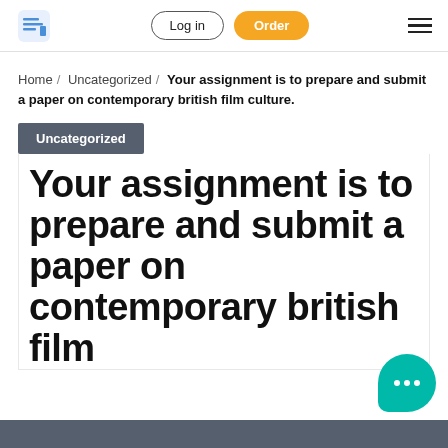Log in | Order
Home / Uncategorized / Your assignment is to prepare and submit a paper on contemporary british film culture.
Uncategorized
Your assignment is to prepare and submit a paper on contemporary british film